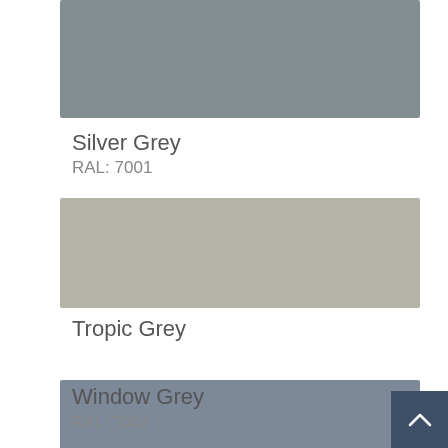[Figure (other): Silver Grey color swatch bar, RAL 7001, medium grey tone]
Silver Grey
RAL: 7001
[Figure (other): Tropic Grey color swatch bar, lighter warm grey tone]
Tropic Grey
[Figure (other): Window Grey color swatch bar, RAL 7040, blue-grey tone]
Window Grey
RAL: 7040